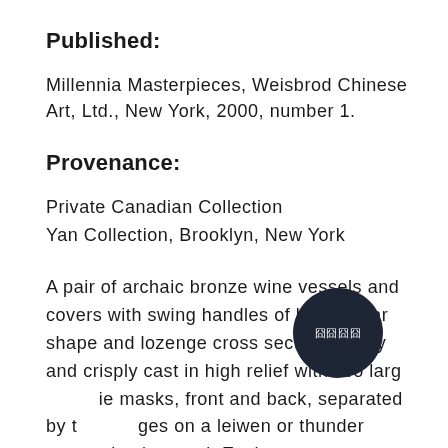Published:
Millennia Masterpieces, Weisbrod Chinese Art, Ltd., New York, 2000, number 1.
Provenance:
Private Canadian Collection
Yan Collection, Brooklyn, New York
A pair of archaic bronze wine vessels and covers with swing handles of broad pear shape and lozenge cross section, boldly and crisply cast in high relief with two large taotie masks, front and back, separated by two flanges on a leiwen or thunder pattern background. Each